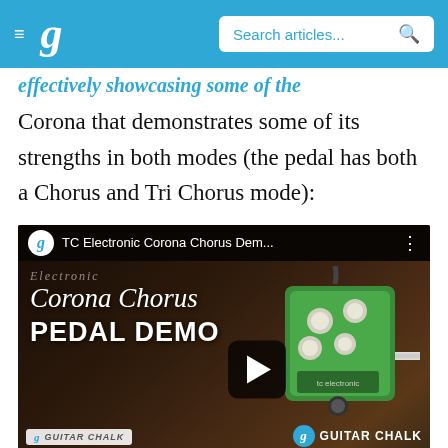Guitar Chalk navigation bar with logo and search
...effectively showcasing some of the Corona that demonstrates some of its strengths in both modes (the pedal has both a Chorus and Tri Chorus mode):
[Figure (screenshot): Embedded YouTube video thumbnail showing TC Electronic Corona Chorus Pedal Demo video. The thumbnail shows the green TC Electronic Corona Chorus pedal on a wooden surface with cables attached. Text overlay reads 'Corona Chorus PEDAL DEMO'. Guitar Chalk logo watermarks visible. Play button centered on thumbnail.]